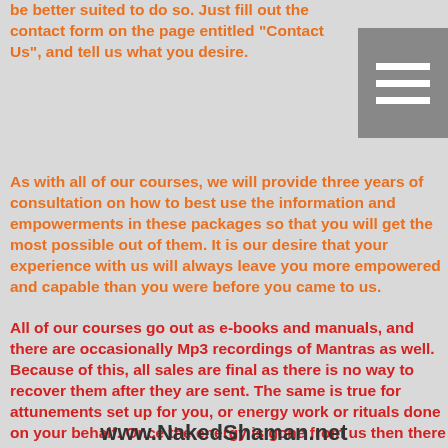be better suited to do so. Just fill out the contact form on the page entitled "Contact Us", and tell us what you desire.
As with all of our courses, we will provide three years of consultation on how to best use the information and empowerments in these packages so that you will get the most possible out of them. It is our desire that your experience with us will always leave you more empowered and capable than you were before you came to us.
All of our courses go out as e-books and manuals, and there are occasionally Mp3 recordings of Mantras as well. Because of this, all sales are final as there is no way to recover them after they are sent. The same is true for attunements set up for you, or energy work or rituals done on your behalf. Once the energy is gone from us then there is no way to get it back. Therefore, all sales are final, and there are no refunds.
www.NakedShaman.net